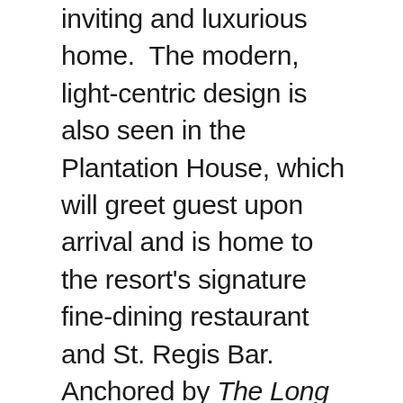inviting and luxurious home. The modern, light-centric design is also seen in the Plantation House, which will greet guest upon arrival and is home to the resort's signature fine-dining restaurant and St. Regis Bar. Anchored by The Long Awaited Voyage, a mural by Puerto Rican artist Arnaldo Roche Rabell that has been restored following the storms and hangs above The St. Regis Bar, the two-story building is a warm, lively and glamorous gathering space that overlooks the ocean and invites guests to simply relax and take in the view, as well as experience the brand's champagne sabering ritual and enjoy live music from a Steinway Piano from the comfort of a plush banquette. The seaside pool and esplanade has also undergone a renovation, and will now offer a casual dining restaurant with indoor and outdoor seating in addition to luxurious poolside cabanas and lounge chairs, as well as the spa, which will debut as The Iridium Spa at The St. Regis Bahia Beach Resort when they open.